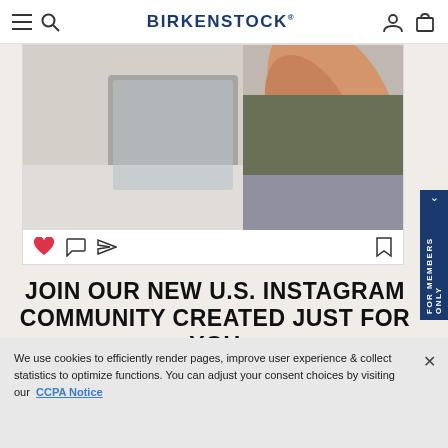BIRKENSTOCK
[Figure (screenshot): Instagram post showing a person's foot wearing a Birkenstock sandal dangling out of a car window, with Instagram action icons (heart, comment, share, bookmark) below the photo.]
JOIN OUR NEW U.S. INSTAGRAM COMMUNITY CREATED JUST FOR YOU
FOLLOW
We use cookies to efficiently render pages, improve user experience & collect statistics to optimize functions. You can adjust your consent choices by visiting our CCPA Notice